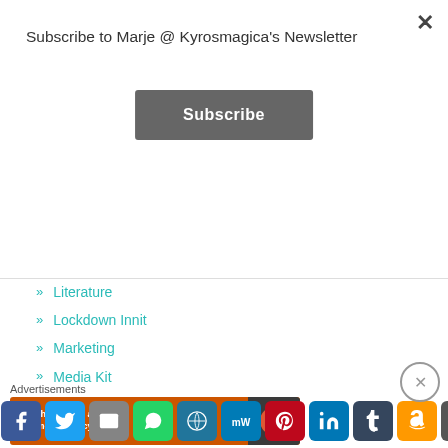Subscribe to Marje @ Kyrosmagica's Newsletter
Subscribe
Literature
Lockdown Innit
Marketing
Media Kit
Media Kit – Mr. Sagittarius
Media Kit – This Is Lockdown
Mental Health
Merry Christmas
Advertisements
[Figure (screenshot): Advertisement banner with orange background showing 'Search, browse, and email with more privacy' text and a DuckDuckGo logo]
[Figure (infographic): Social sharing bar with Facebook, Twitter, Email, WhatsApp, WordPress, MeWe, Pinterest, LinkedIn, Tumblr, Amazon, and More buttons]